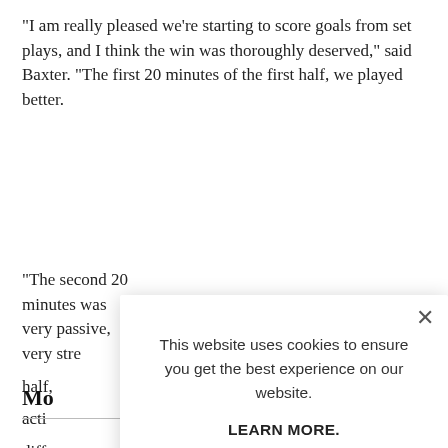"I am really pleased we're starting to score goals from set plays, and I think the win was thoroughly deserved," said Baxter. "The first 20 minutes of the first half, we played better.
"The second 20 minutes was very passive, very stre... half, ... acti... diffe...
Mo...
[Figure (screenshot): Cookie consent modal popup overlaying the article. Contains text 'This website uses cookies to ensure you get the best experience on our website.' with a 'LEARN MORE.' link in bold and an 'ACCEPT COOKIES' button in light blue. An X close button is in the top-right corner of the modal.]